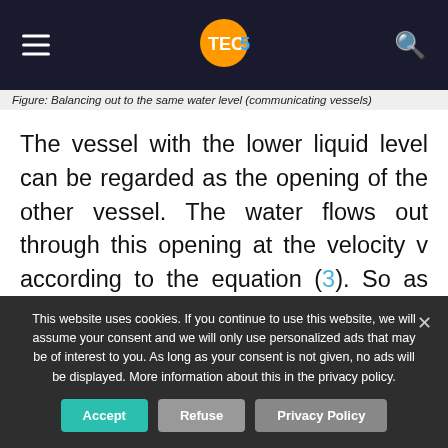TECS [logo/header bar]
Figure: Balancing out to the same water level (communicating vessels)
The vessel with the lower liquid level can be regarded as the opening of the other vessel. The water flows out through this opening at the velocity v according to the equation (3). So as long as there is a difference in height in the water level, water flows upwards. Only when there is no more
This website uses cookies. If you continue to use this website, we will assume your consent and we will only use personalized ads that may be of interest to you. As long as your consent is not given, no ads will be displayed. More information about this in the privacy policy.